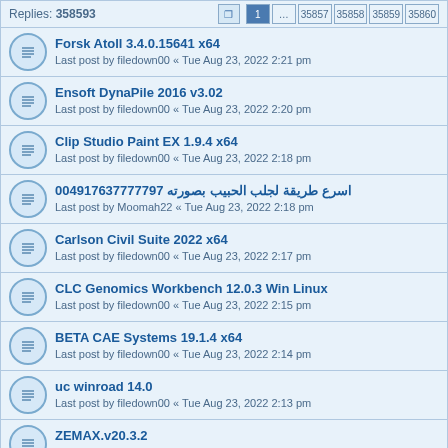Replies: 358593  [pagination: 1 ... 35857 35858 35859 35860]
Forsk Atoll 3.4.0.15641 x64 | Last post by filedown00 « Tue Aug 23, 2022 2:21 pm
Ensoft DynaPile 2016 v3.02 | Last post by filedown00 « Tue Aug 23, 2022 2:20 pm
Clip Studio Paint EX 1.9.4 x64 | Last post by filedown00 « Tue Aug 23, 2022 2:18 pm
اسرع طريقة لجلب الحبيب بصورته 00491763777777797 | Last post by Moomah22 « Tue Aug 23, 2022 2:18 pm
Carlson Civil Suite 2022 x64 | Last post by filedown00 « Tue Aug 23, 2022 2:17 pm
CLC Genomics Workbench 12.0.3 Win Linux | Last post by filedown00 « Tue Aug 23, 2022 2:15 pm
BETA CAE Systems 19.1.4 x64 | Last post by filedown00 « Tue Aug 23, 2022 2:14 pm
uc winroad 14.0 | Last post by filedown00 « Tue Aug 23, 2022 2:13 pm
ZEMAX.v20.3.2 | Last post by filedown00 « Tue Aug 23, 2022 2:11 pm
Simcore Processing ModflowX 10.02 x64 | Last post by filedown00 « Tue Aug 23, 2022 2:10 pm